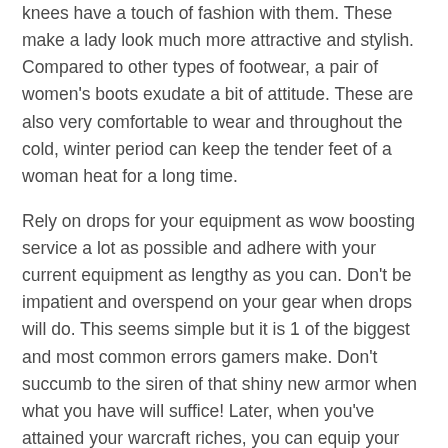knees have a touch of fashion with them. These make a lady look much more attractive and stylish. Compared to other types of footwear, a pair of women's boots exudate a bit of attitude. These are also very comfortable to wear and throughout the cold, winter period can keep the tender feet of a woman heat for a long time.
Rely on drops for your equipment as wow boosting service a lot as possible and adhere with your current equipment as lengthy as you can. Don't be impatient and overspend on your gear when drops will do. This seems simple but it is 1 of the biggest and most common errors gamers make. Don't succumb to the siren of that shiny new armor when what you have will suffice! Later, when you've attained your warcraft riches, you can equip your self to your coronary heart's content.
Make sure that your character is wow carry as many of